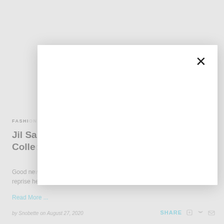[Figure (screenshot): Modal dialog overlay with close X button on white background card, positioned over a webpage article]
FASHION
Jil Sander Returns To Uniqlo With Fall 2020 +J Collection
Good news for all Sander lovers, the designer has revealed plans to reprise her popular +J line with
Read More ...
by Snobette on August 27, 2020
SHARE